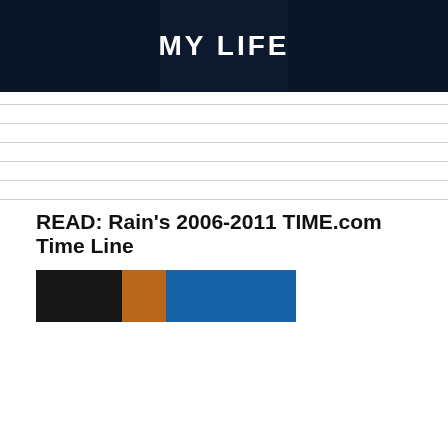[Figure (photo): Dark blue/navy background image with white bold text reading 'MY LIFE']
READ: Rain's 2006-2011 TIME.com Time Line
[Figure (photo): Partially visible image at bottom showing dark, orange/amber, and blue colored sections]